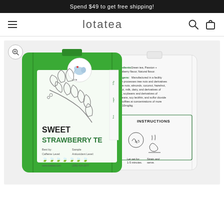Spend $49 to get free shipping!
lotatea
[Figure (photo): Product image showing front and back of a green tea package labeled 'SWEET STRAWBERRY TEA' with botanical leaf illustration. Front bag is green with a white panel showing a sketched tea plant, a circular logo with an elephant, product name in large text, and details including 'Best by:', 'Caffeine Level:', 'Sample', 'Antioxidant Level', website www.lotatea.com and phone (206) 414-2077. The back bag is white showing Ingredients (Green tea, Passion + Strawberry flavor, Natural flavor), Allergens notice, and brewing Instructions.]